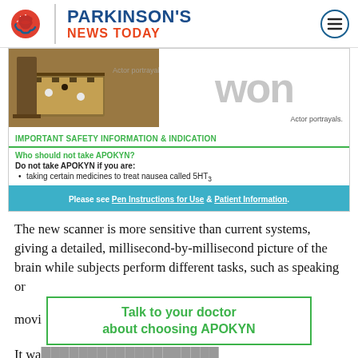PARKINSON'S NEWS TODAY
[Figure (screenshot): Advertisement for APOKYN medication showing a chess game photo, 'won' text, Important Safety Information section with green header, bullet point about 5HT3 medicines, and a teal footer with 'Please see Pen Instructions for Use & Patient Information.']
The new scanner is more sensitive than current systems, giving a detailed, millisecond-by-millisecond picture of the brain while subjects perform different tasks, such as speaking or moving.
[Figure (infographic): Talk to your doctor about choosing APOKYN - green text banner with border]
It was...
magnetoencephalography towards real-world